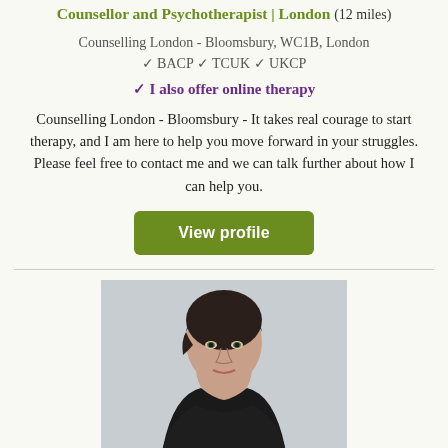Counsellor and Psychotherapist | London (12 miles)
Counselling London - Bloomsbury, WC1B, London
✓ BACP ✓ TCUK ✓ UKCP
✓ I also offer online therapy
Counselling London - Bloomsbury - It takes real courage to start therapy, and I am here to help you move forward in your struggles. Please feel free to contact me and we can talk further about how I can help you.
View profile
[Figure (photo): Portrait photo of a woman with short dark hair wearing a dark top, photographed against a light background.]